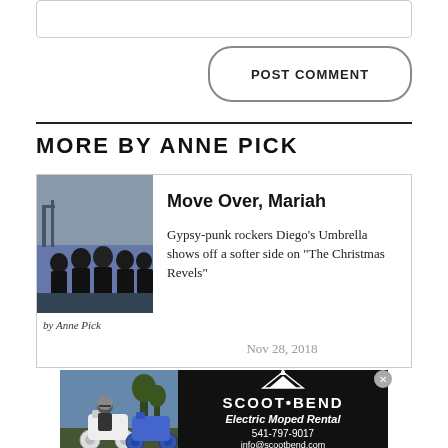[Comment input box]
POST COMMENT
MORE BY ANNE PICK
[Figure (photo): Band photo of Gypsy-punk rockers Diego's Umbrella — group of men in dark clothing standing outdoors near water]
by Anne Pick
Move Over, Mariah
Gypsy-punk rockers Diego's Umbrella shows off a softer side on "The Christmas Revels"
Nov 28, 2018
[Figure (photo): Advertisement for Scoot Bend Electric Moped Rental showing mopeds parked outside with black background showing logo, phone 541-797-9017, info@scootbend.com, scootbend.com]